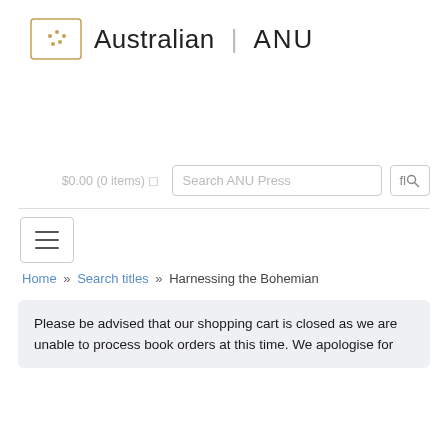[Figure (logo): ANU Press logo: a rectangular border with golden dotted pattern inside, followed by 'Australian | ANU' text header]
$0.00 (0 items)
Search ANU Press
Home » Search titles » Harnessing the Bohemian
Please be advised that our shopping cart is closed as we are unable to process book orders at this time. We apologise for